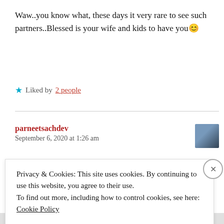Waw..you know what, these days it very rare to see such partners..Blessed is your wife and kids to have you😊
★ Liked by 2 people
parneetsachdev
September 6, 2020 at 1:26 am
Privacy & Cookies: This site uses cookies. By continuing to use this website, you agree to their use.
To find out more, including how to control cookies, see here: Cookie Policy
Close and accept